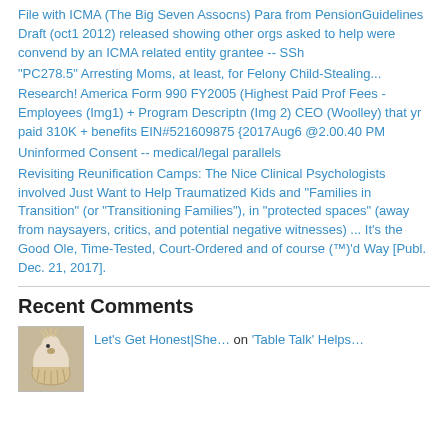File with ICMA (The Big Seven Assocns) Para from PensionGuidelines Draft (oct1 2012) released showing other orgs asked to help were convend by an ICMA related entity grantee -- SSh
"PC278.5" Arresting Moms, at least, for Felony Child-Stealing...
Research! America Form 990 FY2005 (Highest Paid Prof Fees - Employees (Img1) + Program Descriptn (Img 2) CEO (Woolley) that yr paid 310K + benefits EIN#521609875 {2017Aug6 @2.00.40 PM
Uninformed Consent -- medical/legal parallels
Revisiting Reunification Camps: The Nice Clinical Psychologists involved Just Want to Help Traumatized Kids and "Families in Transition" (or "Transitioning Families"), in "protected spaces" (away from naysayers, critics, and potential negative witnesses) ... It's the Good Ole, Time-Tested, Court-Ordered and of course (™)'d Way [Publ. Dec. 21, 2017].
Recent Comments
Let's Get Honest|She… on 'Table Talk' Helps…